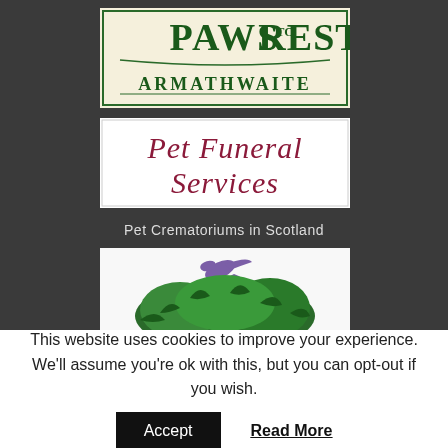[Figure (logo): Paws to Rest Armathwaite logo — dark green serif text on cream background with decorative border]
[Figure (logo): Pet Funeral Services logo — dark rose/crimson italic cursive script on white background]
Pet Crematoriums in Scotland
[Figure (logo): Partial logo with purple bird and green foliage illustration, partially cut off at bottom]
This website uses cookies to improve your experience. We'll assume you're ok with this, but you can opt-out if you wish.
Accept
Read More